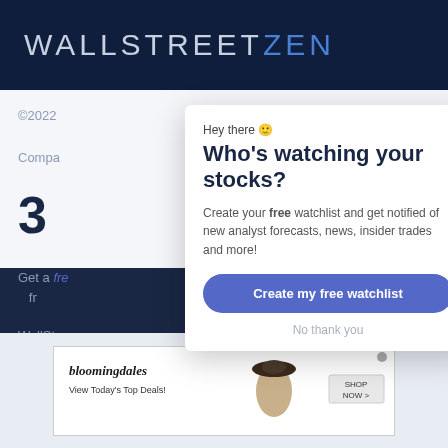WALLSTREETZEN
©2022
Compa
3
Get a free... fr... WallStr...
Enter you
Who's watching your stocks?
Hey there 🙂
Create your free watchlist and get notified of new analyst forecasts, news, insider trades and more!
Create my free watchlist
No thank you
[Figure (screenshot): Bloomingdale's advertisement banner at the bottom of the page showing 'View Today's Top Deals!' with a woman in a hat and SHOP NOW button]